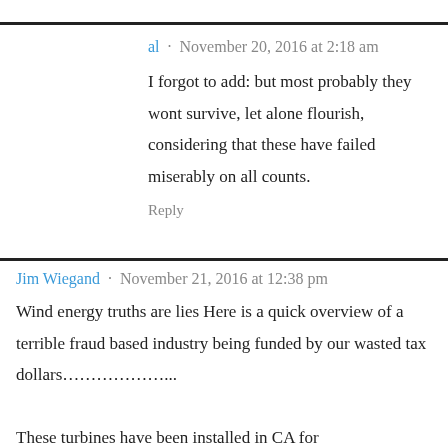al · November 20, 2016 at 2:18 am
I forgot to add: but most probably they wont survive, let alone flourish, considering that these have failed miserably on all counts.
Reply
Jim Wiegand · November 21, 2016 at 12:38 pm
Wind energy truths are lies Here is a quick overview of a terrible fraud based industry being funded by our wasted tax dollars……………….. These turbines have been installed in CA for